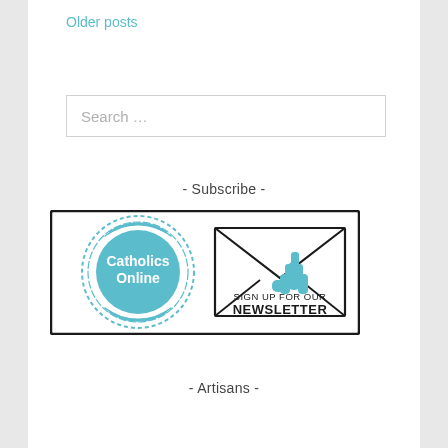Older posts
Search …
- Subscribe -
[Figure (logo): Catholics Online newsletter sign-up banner with circular teal logo on left and envelope with hand cursor icon on right, text reads SIGN UP FOR OUR NEWSLETTER]
- Artisans -